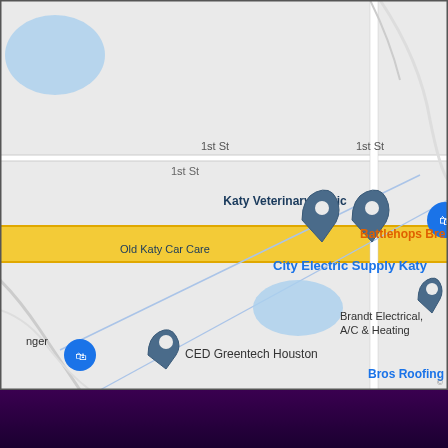[Figure (map): Google Maps screenshot showing Katy, Texas area with business locations marked. Visible locations include: Old Katy Car Care, Katy Veterinary Clinic, City Electric Supply Katy, Battlehops Brewery (partially visible), Brandt Electrical A/C & Heating, CED Greentech Houston, Bros Roofing Supply (partially visible), Poerl+Fuchs Inc. Distribution Center (partially visible), and an unidentified shopping marker on the right side. Roads labeled 1st St visible. Yellow highlighted road (main street/highway) runs horizontally. Blue water bodies visible. Map background is light gray.]